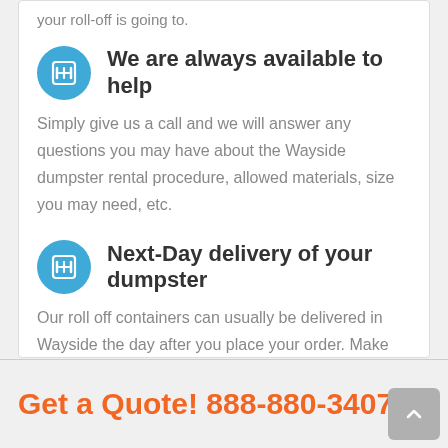your roll-off is going to.
We are always available to help
Simply give us a call and we will answer any questions you may have about the Wayside dumpster rental procedure, allowed materials, size you may need, etc.
Next-Day delivery of your dumpster
Our roll off containers can usually be delivered in Wayside the day after you place your order. Make sure to call us early to ensure timely delivery.
Get a Quote! 888-880-3407